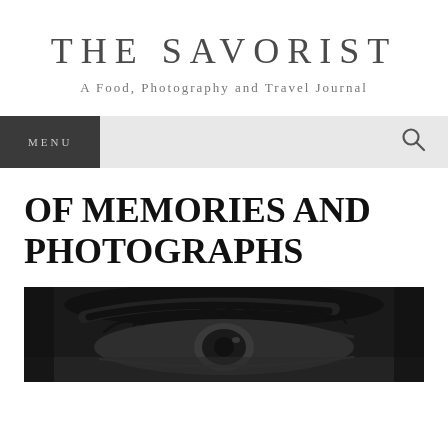THE SAVORIST
A Food, Photography and Travel Journal
MENU
OF MEMORIES AND PHOTOGRAPHS
[Figure (photo): Close-up black and white photograph of a person's eye with prominent eyelashes and eyebrows]